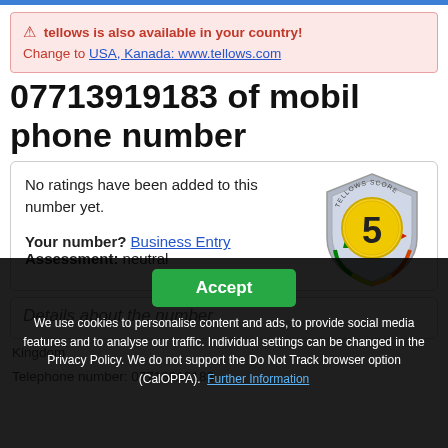tellows is also available in your country! Change to USA, Kanada: www.tellows.com
07713919183 of mobil phone number
No ratings have been added to this number yet.
Your number? Business Entry
Assessment: neutral
[Figure (infographic): Tellows Score badge showing score of 5 on a shield with color gradient from green to red]
Details about the number
Kingdom
Telephone number: 07713919183
International: +447713919183
Accept
We use cookies to personalise content and ads, to provide social media features and to analyse our traffic. Individual settings can be changed in the Privacy Policy. We do not support the Do Not Track browser option (CalOPPA). Further Information